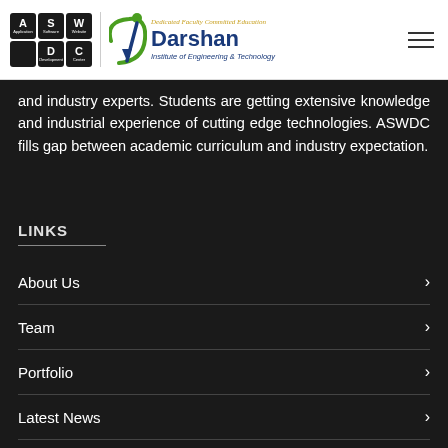[Figure (logo): ASWDC logo with keyboard-style tiles and Darshan Institute of Engineering & Technology logo with tagline 'Dedicated Faculty Committed Education']
and industry experts. Students are getting extensive knowledge and industrial experience of cutting edge technologies. ASWDC fills gap between academic curriculum and industry expectation.
LINKS
About Us
Team
Portfolio
Latest News